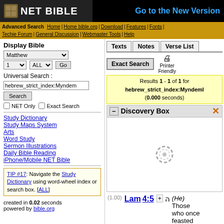NET BIBLE - Go to the New Version
Advanced Search | Home | Home bible.org | Download | Features | Fonts | Techie Forum | General Discussion | Webmaster Tools | Help
Display Bible
Matthew  1  ALL  Go
Universal Search :
hebrew_strict_index:Myndem
Search
NET Only  Exact Search
Study Dictionary
Study Maps System
Arts
Word Study
Sermon Illustrations
Daily Bible Reading
iPhone/Mobile NET Bible
TIP #17: Navigate the Study Dictionary using word-wheel index or search box. [ALL]
created in 0.02 seconds
powered by bible.org
Texts  Notes  Verse List
Exact Search  Printer Friendly
Results 1 - 1 of 1 for hebrew_strict_index:Myndeml (0.000 seconds)
Discovery Box
(1.00)  Lam 4:5  ה (He) Those who once feasted